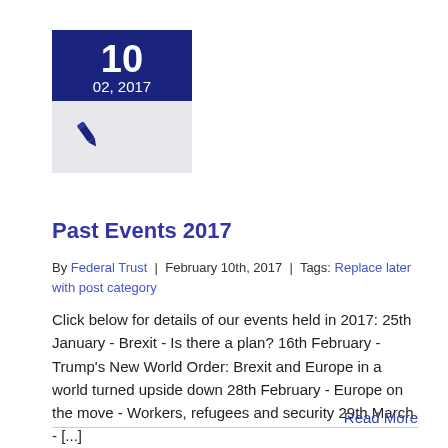[Figure (other): Date badge showing 10 / 02, 2017 in dark navy blue, with a pen icon below on grey background]
Past Events 2017
By Federal Trust | February 10th, 2017 | Tags: Replace later with post category
Click below for details of our events held in 2017: 25th January - Brexit - Is there a plan? 16th February - Trump's New World Order: Brexit and Europe in a world turned upside down 28th February - Europe on the move - Workers, refugees and security 29th March - [...]
Read More